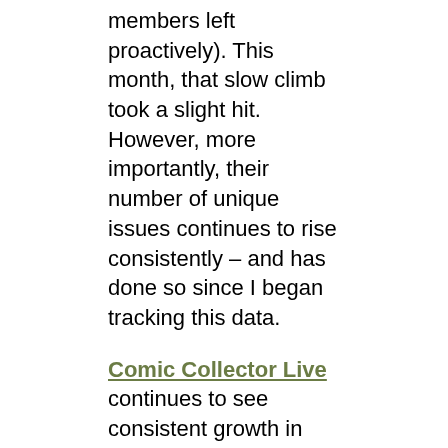members left proactively). This month, that slow climb took a slight hit. However, more importantly, their number of unique issues continues to rise consistently – and has done so since I began tracking this data.
Comic Collector Live continues to see consistent growth in their user base.
Amazon's collectibles marketplace is too new